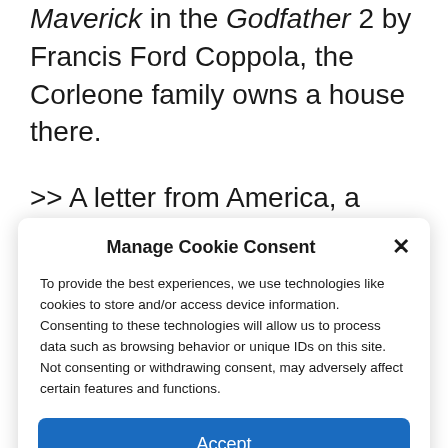Maverick in the Godfather 2 by Francis Ford Coppola, the Corleone family owns a house there.
>> A letter from America, a series of exceptional episodes to be found every Tuesday. A sound postcard to help us better understand this America of today, both so
Manage Cookie Consent
To provide the best experiences, we use technologies like cookies to store and/or access device information. Consenting to these technologies will allow us to process data such as browsing behavior or unique IDs on this site. Not consenting or withdrawing consent, may adversely affect certain features and functions.
Accept
Cookie Policy